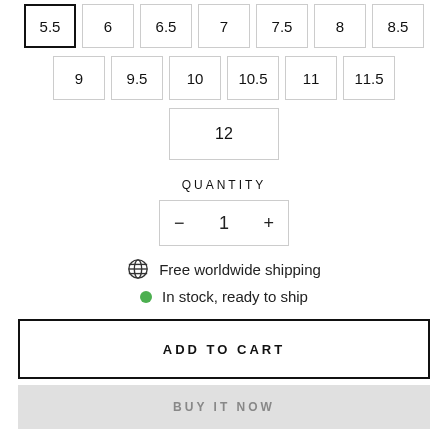5.5 (selected), 6, 6.5, 7, 7.5, 8, 8.5
9, 9.5, 10, 10.5, 11, 11.5
12
QUANTITY
- 1 +
Free worldwide shipping
In stock, ready to ship
ADD TO CART
BUY IT NOW